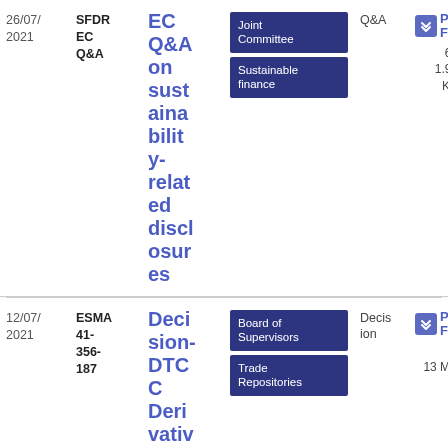| Date | Reference | Title | Tags | Type | Download |
| --- | --- | --- | --- | --- | --- |
| 26/07/2021 | SFDR EC Q&A | EC Q&A on sustainability-related disclosures | Joint Committee, Sustainable finance | Q&A | PDF 60 1.99 KB |
| 12/07/2021 | ESMA 41-356-187 | Decision-DTCC Derivatives Rep | Board of Supervisors, Trade Repositories | Decision | PDF 1.13 MB |